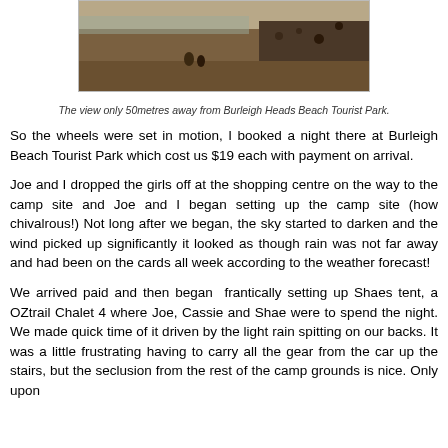[Figure (photo): Landscape photo of a rocky beach/hillside area, appearing to be near Burleigh Heads Beach Tourist Park. Shows arid terrain with rocks and sparse vegetation, a few people visible, with ocean/bay in the background.]
The view only 50metres away from Burleigh Heads Beach Tourist Park.
So the wheels were set in motion, I booked a night there at Burleigh Beach Tourist Park which cost us $19 each with payment on arrival.
Joe and I dropped the girls off at the shopping centre on the way to the camp site and Joe and I began setting up the camp site (how chivalrous!)  Not long after we began, the sky started to darken and the wind picked up significantly it looked as though rain was not far away and had been on the cards all week according to the weather forecast!
We arrived paid and then began  frantically setting up Shaes tent, a OZtrail Chalet 4 where Joe, Cassie and Shae were to spend the night.  We made quick time of it driven by the light rain spitting on our backs.  It was a little frustrating having to carry all the gear from the car up the stairs, but the seclusion from the rest of the camp grounds is nice.  Only upon